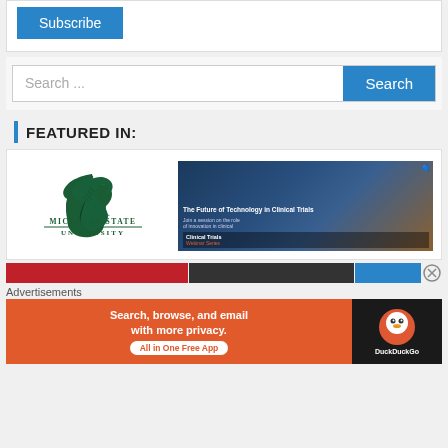Subscribe
Search ...
Search
FEATURED IN:
[Figure (logo): Michigan State University Spartan helmet logo with text MICHIGAN STATE UNIVERSITY below]
[Figure (screenshot): Clinical Trials webinar thumbnail: The Future of Technology in Clinical Trials]
Advertisements
[Figure (photo): DuckDuckGo advertisement: Search, browse, and email with more privacy. All in One Free App]